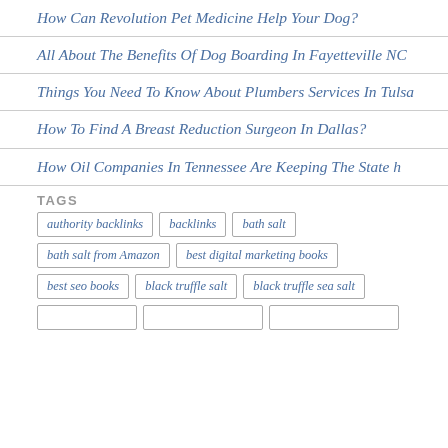How Can Revolution Pet Medicine Help Your Dog?
All About The Benefits Of Dog Boarding In Fayetteville NC
Things You Need To Know About Plumbers Services In Tulsa
How To Find A Breast Reduction Surgeon In Dallas?
How Oil Companies In Tennessee Are Keeping The State h
TAGS
authority backlinks
backlinks
bath salt
bath salt from Amazon
best digital marketing books
best seo books
black truffle salt
black truffle sea salt